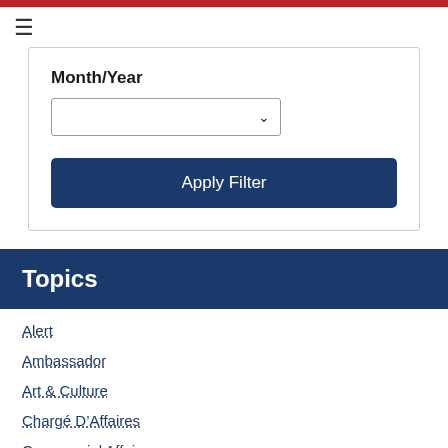Month/Year
Apply Filter
Topics
Alert
Ambassador
Art & Culture
Chargé D'Affaires
Commercial Affairs